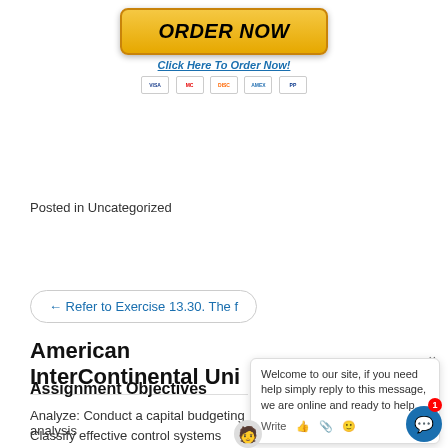[Figure (other): ORDER NOW button with payment icons and Click Here To Order Now! link]
Posted in Uncategorized
← Refer to Exercise 13.30. The f
American InterContinental Uni
Assignment Objectives
Analyze: Conduct a capital budgeting analysis
Classify effective control systems
Evaluate the issues and problems created by revenue and cost interactions evaluating the performance of an organization unit
[Figure (other): Live chat widget with welcome message and write input area]